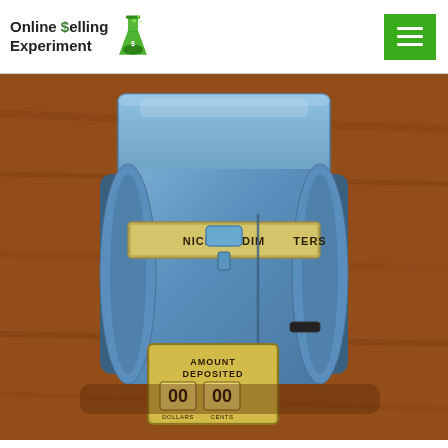Online Selling Experiment
[Figure (photo): A vintage blue metal coin bank/sorter labeled 'NICKELS DIMES QUARTERS' with an 'AMOUNT DEPOSITED' display showing 00 dollars and 00 cents, sitting on a wooden surface.]